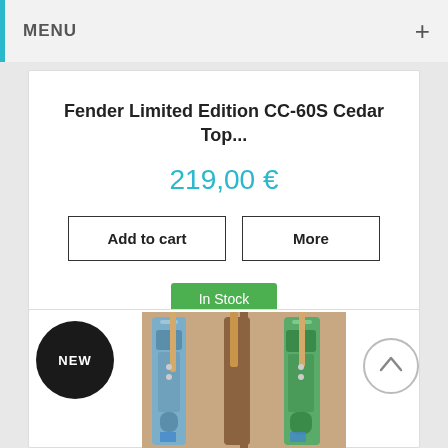MENU
Fender Limited Edition CC-60S Cedar Top...
219,00 €
Add to cart
More
In Stock
[Figure (photo): Product listing card with NEW badge showing electric guitars (blue Stratocaster and green Telecaster) hanging on a wall display, with an up-arrow navigation circle on the right]